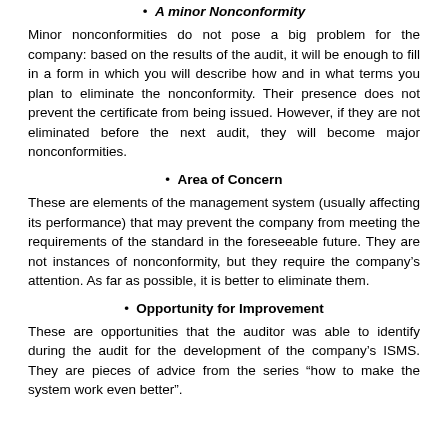A Minor Nonconformity
Minor nonconformities do not pose a big problem for the company: based on the results of the audit, it will be enough to fill in a form in which you will describe how and in what terms you plan to eliminate the nonconformity. Their presence does not prevent the certificate from being issued. However, if they are not eliminated before the next audit, they will become major nonconformities.
Area of Concern
These are elements of the management system (usually affecting its performance) that may prevent the company from meeting the requirements of the standard in the foreseeable future. They are not instances of nonconformity, but they require the company's attention. As far as possible, it is better to eliminate them.
Opportunity for Improvement
These are opportunities that the auditor was able to identify during the audit for the development of the company's ISMS. They are pieces of advice from the series "how to make the system work even better".